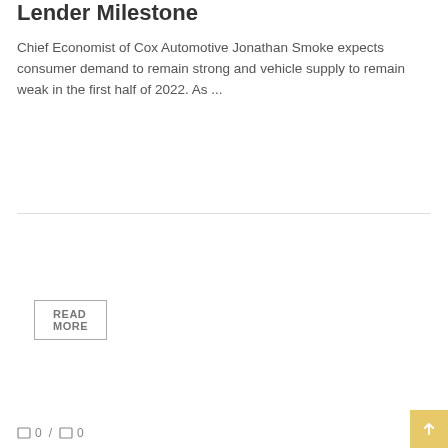Lender Milestone
Chief Economist of Cox Automotive Jonathan Smoke expects consumer demand to remain strong and vehicle supply to remain weak in the first half of 2022. As ...
READ MORE
FUND
0 / 0